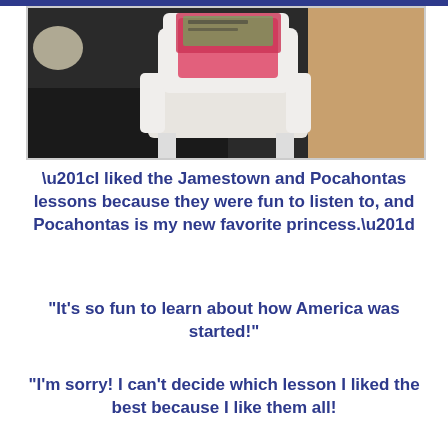[Figure (photo): Photo of a child's plastic chair with items on it, on a countertop near wooden furniture]
“I liked the Jamestown and Pocahontas lessons because they were fun to listen to, and Pocahontas is my new favorite princess.”
"It’s so fun to learn about how America was started!"
"I’m sorry! I can’t decide which lesson I liked the best because I like them all!